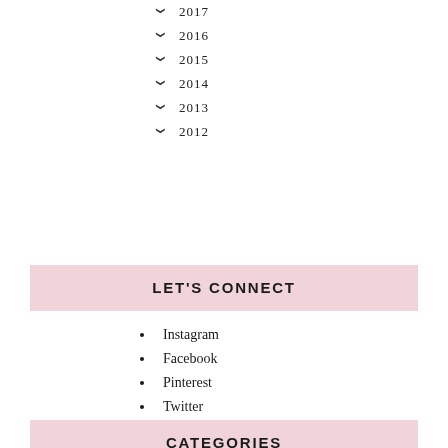2017
2016
2015
2014
2013
2012
LET'S CONNECT
Instagram
Facebook
Pinterest
Twitter
CATEGORIES